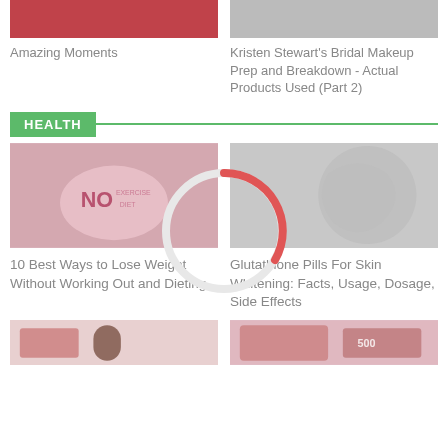[Figure (photo): Red/floral image thumbnail (top left)]
Amazing Moments
[Figure (photo): Woman with makeup/bridal image thumbnail (top right)]
Kristen Stewart's Bridal Makeup Prep and Breakdown - Actual Products Used (Part 2)
HEALTH
[Figure (photo): Woman holding No Exercise No Diet sign - health article image (left)]
10 Best Ways to Lose Weight Without Working Out and Dieting
[Figure (photo): Woman with long hair smiling - skin whitening article image (right)]
Glutathione Pills For Skin Whitening: Facts, Usage, Dosage, Side Effects
[Figure (photo): Bottom left article thumbnail]
[Figure (photo): Bottom right article thumbnail]